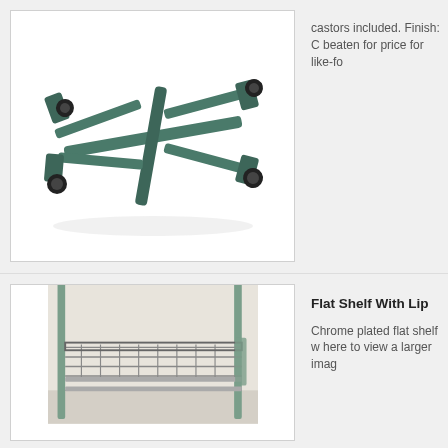[Figure (photo): A metal dolly/cart frame with wheels (castors) at corners and cross bars, shown in dark green/teal finish, viewed from above at an angle]
castors included. Finish: C beaten for price for like-fo
[Figure (photo): A chrome wire flat shelf with lip installed on a shelving unit, showing grid wire construction with front lip, viewed from a side angle]
Flat Shelf With Lip
Chrome plated flat shelf w here to view a larger imag